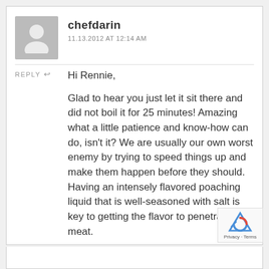chefdarin
11.13.2012 AT 12:14 AM
REPLY ↩
Hi Rennie,
Glad to hear you just let it sit there and did not boil it for 25 minutes! Amazing what a little patience and know-how can do, isn't it? We are usually our own worst enemy by trying to speed things up and make them happen before they should. Having an intensely flavored poaching liquid that is well-seasoned with salt is key to getting the flavor to penetrate the meat.
-Darin
Privacy · Terms